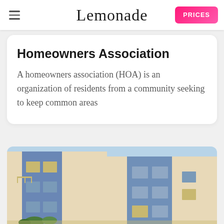Lemonade — PRICES
Homeowners Association
A homeowners association (HOA) is an organization of residents from a community seeking to keep common areas
[Figure (photo): Exterior photo of a modern multi-story residential building with blue and beige/cream facade panels, balconies, and clear sky background]